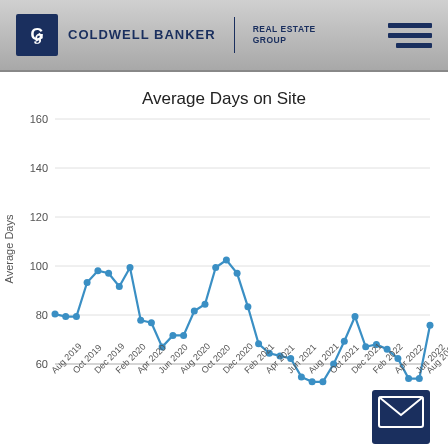[Figure (logo): Coldwell Banker Real Estate Group logo with dark blue square CB icon]
[Figure (line-chart): Average Days on Site]